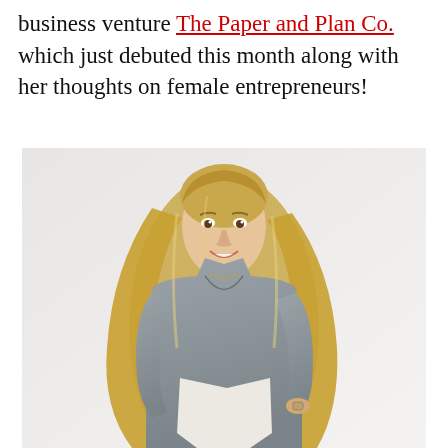business venture The Paper and Plan Co. which just debuted this month along with her thoughts on female entrepreneurs!
[Figure (photo): A smiling blonde woman wearing a gray v-neck t-shirt and white pants, posed against a white background.]